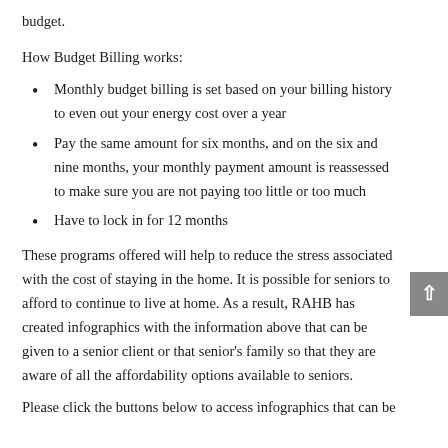budget.
How Budget Billing works:
Monthly budget billing is set based on your billing history to even out your energy cost over a year
Pay the same amount for six months, and on the six and nine months, your monthly payment amount is reassessed to make sure you are not paying too little or too much
Have to lock in for 12 months
These programs offered will help to reduce the stress associated with the cost of staying in the home. It is possible for seniors to afford to continue to live at home. As a result, RAHB has created infographics with the information above that can be given to a senior client or that senior's family so that they are aware of all the affordability options available to seniors.
Please click the buttons below to access infographics that can be